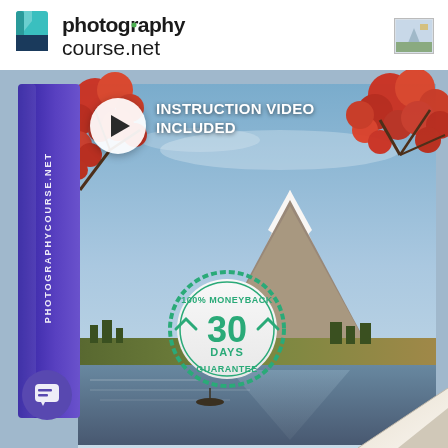[Figure (logo): photographycourse.net logo with green/teal book icon and bold text]
[Figure (photo): Photography course product box mockup showing Mount Fuji in autumn with red maple leaves, lake reflection, play button with 'INSTRUCTION VIDEO INCLUDED' text, 30 days moneyback guarantee badge, purple spine with PHOTOGRAPHYCOURSE.NET text, and chat icon at bottom]